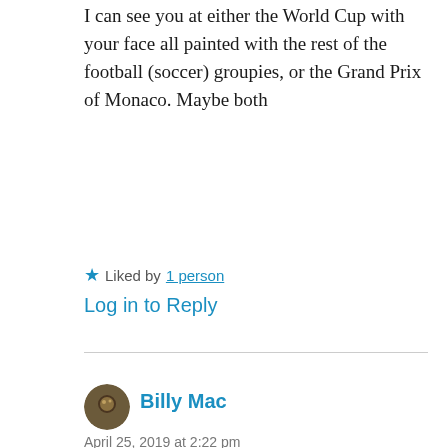I can see you at either the World Cup with your face all painted with the rest of the football (soccer) groupies, or the Grand Prix of Monaco. Maybe both
★ Liked by 1 person
Log in to Reply
Billy Mac
April 25, 2019 at 2:22 pm
Well played, Steve. I agree with all of it. The rest of the world may not know what it is like to be a Sox fan but you just nailed it. They're killing me too, they're better than this